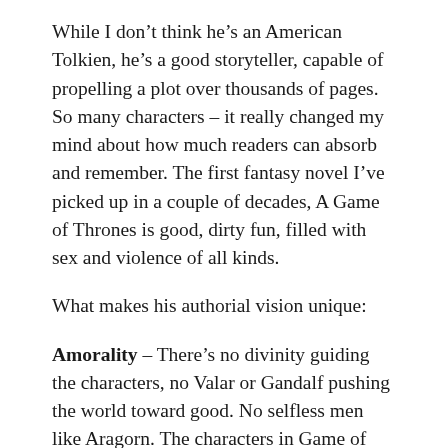While I don't think he's an American Tolkien, he's a good storyteller, capable of propelling a plot over thousands of pages. So many characters – it really changed my mind about how much readers can absorb and remember. The first fantasy novel I've picked up in a couple of decades, A Game of Thrones is good, dirty fun, filled with sex and violence of all kinds.
What makes his authorial vision unique:
Amorality – There's no divinity guiding the characters, no Valar or Gandalf pushing the world toward good. No selfless men like Aragorn. The characters in Game of Thrones